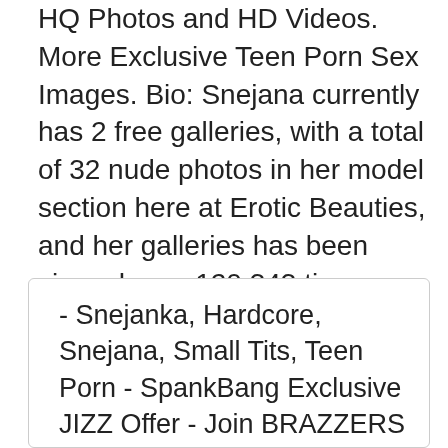HQ Photos and HD Videos. More Exclusive Teen Porn Sex Images. Bio: Snejana currently has 2 free galleries, with a total of 32 nude photos in her model section here at Erotic Beauties, and her galleries has been viewed over 120,343 times. You can filter our erotic galleries for Snejana by your favorite sponsor by using the filter links in … XVIDEOS Sophy and ted Teen porn exclusiveteen.com free. XVIDEOS.COM ACCOUNT Join for FREE Log in.
- Snejanka, Hardcore, Snejana, Small Tits, Teen Porn - SpankBang Exclusive JIZZ Offer - Join BRAZZERS Only 1$ Today ! Durée: 21:26 Catégories: hardcore jeunes18 report abuse. Similar porn videos Irina Snejana Exclusiveteenporn Porn Videos|...